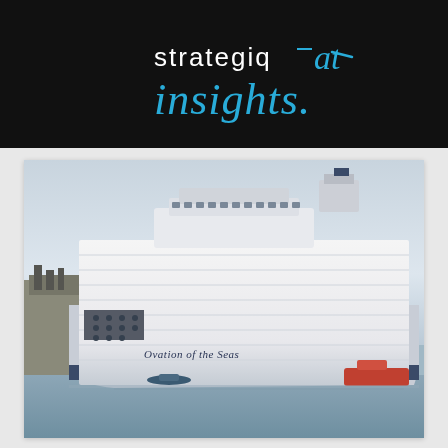[Figure (logo): Strategiq Insights logo on black banner background — white sans-serif 'strategiq' text with cyan accent mark and cyan italic script 'insights.' below]
[Figure (photo): Large white cruise ship 'Ovation of the Seas' docked at port, seen from the side, with a pale blue-grey overcast sky, a small tugboat visible in the water, and port infrastructure on the left]